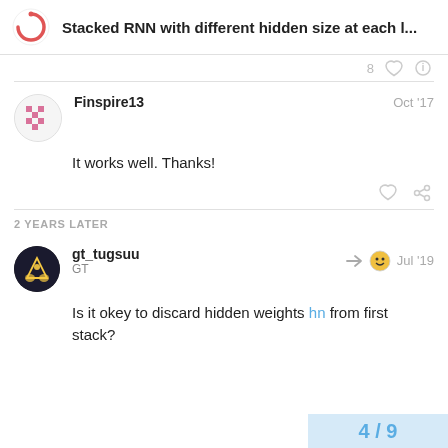Stacked RNN with different hidden size at each l...
8
Finspire13  Oct '17
It works well. Thanks!
2 YEARS LATER
gt_tugsuu  GT  Jul '19
Is it okey to discard hidden weights hn from first stack?
4 / 9